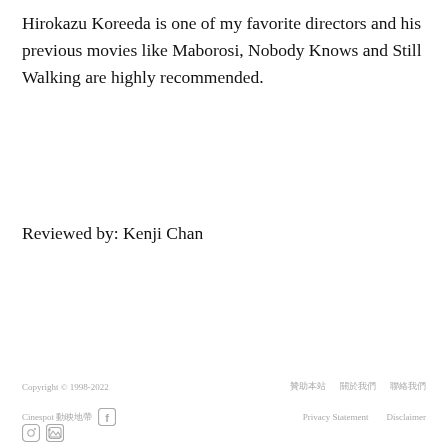Hirokazu Koreeda is one of my favorite directors and his previous movies like Maborosi, Nobody Knows and Still Walking are highly recommended.
Reviewed by: Kenji Chan
Copyright © 1998-2022   贊助本站   關於我們   聯絡我們   Cinespot 動映地帶   [Facebook icon]   Privacy Statement   Disclaimer   [Instagram icon] [RSS icon]